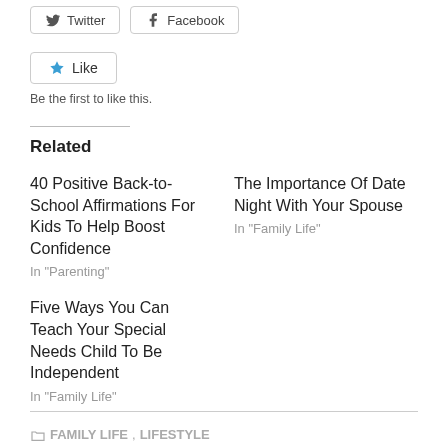[Figure (other): Social share buttons: Twitter and Facebook]
[Figure (other): Like button with star icon]
Be the first to like this.
Related
40 Positive Back-to-School Affirmations For Kids To Help Boost Confidence
In "Parenting"
The Importance Of Date Night With Your Spouse
In "Family Life"
Five Ways You Can Teach Your Special Needs Child To Be Independent
In "Family Life"
FAMILY LIFE, LIFESTYLE...